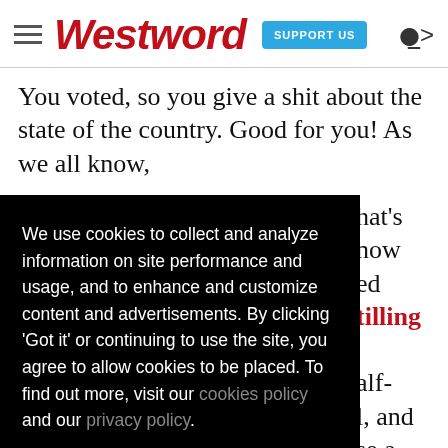Westword — SUPPORT US
You voted, so you give a shit about the state of the country. Good for you! As we all know,
We use cookies to collect and analyze information on site performance and usage, and to enhance and customize content and advertisements. By clicking 'Got it' or continuing to use the site, you agree to allow cookies to be placed. To find out more, visit our cookies policy and our privacy policy.
Got it!
hat's now ed tilling alf- l, and se a ing 's